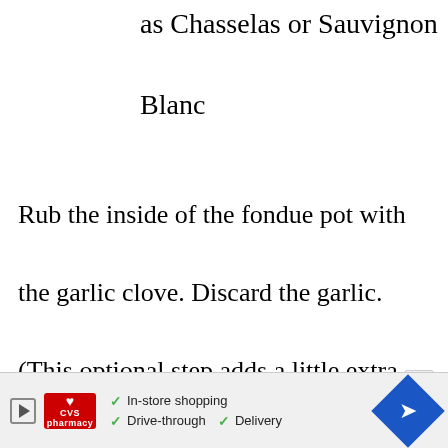as Chasselas or Sauvignon Blanc
Rub the inside of the fondue pot with the garlic clove. Discard the garlic. (This optional step adds a little extra flavor to the sauce.)
Dissolve the cornstarch in the kirsch.
Set aside.
[Figure (other): CVS Pharmacy advertisement banner with play button, CVS logo, in-store shopping, drive-through, and delivery options, and a navigation arrow diamond icon.]